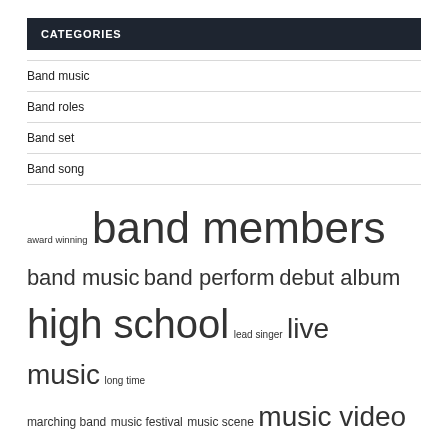CATEGORIES
Band music
Band roles
Band set
Band song
award winning band members band music band perform debut album high school lead singer live music long time marching band music festival music scene music video